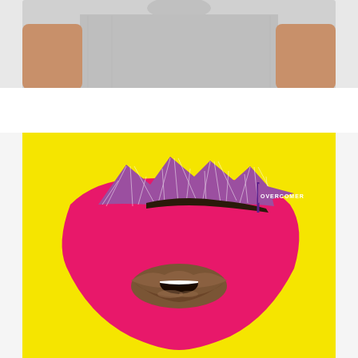[Figure (photo): Partial view of a person wearing a light gray t-shirt, showing torso and arms from shoulders down, background is light gray]
by Asael Varas
21
[Figure (illustration): Graphic art design on a bright yellow background featuring a large pink/magenta bowl or cup shape containing purple illustrated mountains and a purple pennant flag reading OVERCOMER, with stylized brown lips at the bottom center showing white teeth]